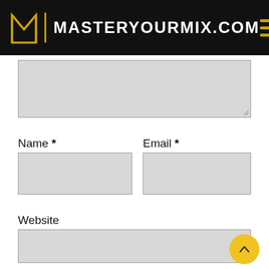MASTERYOURMIX.COM
[Figure (screenshot): Comment textarea input box, partially visible, with resize handle at bottom right]
Name *
[Figure (screenshot): Name text input field, empty, light gray background]
Email *
[Figure (screenshot): Email text input field, empty, light gray background]
Website
[Figure (screenshot): Website text input field, full width, empty, light gray background]